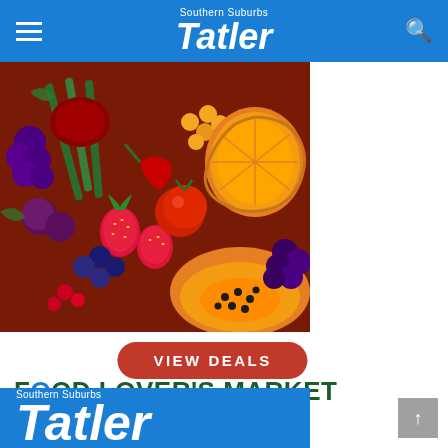Southern Suburbs Tatler
[Figure (photo): Colorful arrangement of fresh fruits and vegetables including oranges, strawberries, tomatoes, blueberries, grapes, papaya, asparagus, and other produce]
VIEW DEALS
FOOD LOVER'S MARKET
[Figure (logo): Southern Suburbs Tatler logo on blue background — bold italic white text]